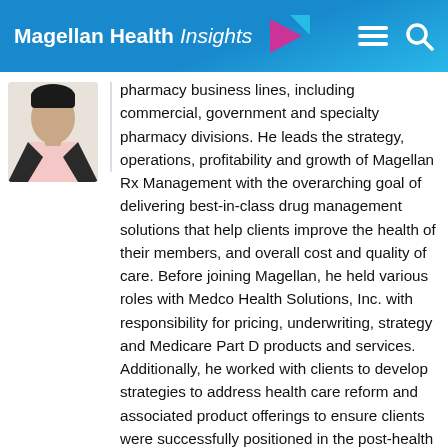Magellan Health Insights
[Figure (photo): Headshot photo of a man in a dark blazer and light pink shirt]
pharmacy business lines, including commercial, government and specialty pharmacy divisions. He leads the strategy, operations, profitability and growth of Magellan Rx Management with the overarching goal of delivering best-in-class drug management solutions that help clients improve the health of their members, and overall cost and quality of care. Before joining Magellan, he held various roles with Medco Health Solutions, Inc. with responsibility for pricing, underwriting, strategy and Medicare Part D products and services. Additionally, he worked with clients to develop strategies to address health care reform and associated product offerings to ensure clients were successfully positioned in the post-health care reform era. Kamal